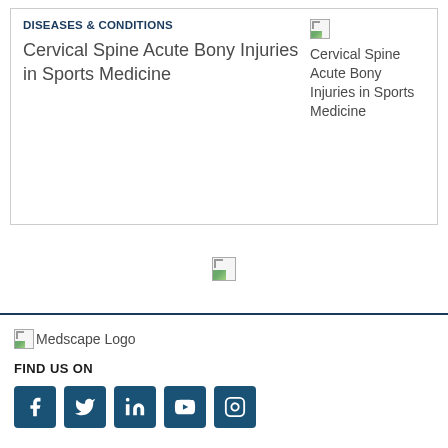DISEASES & CONDITIONS
Cervical Spine Acute Bony Injuries in Sports Medicine
[Figure (photo): Broken image placeholder for Cervical Spine Acute Bony Injuries in Sports Medicine article thumbnail]
[Figure (photo): Broken image placeholder in middle of page]
[Figure (logo): Medscape Logo broken image]
FIND US ON
[Figure (infographic): Social media icons: Facebook, Twitter, LinkedIn, YouTube, Instagram on teal/dark blue square backgrounds]